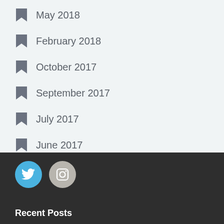May 2018
February 2018
October 2017
September 2017
July 2017
June 2017
May 2017
April 2017
March 2017
[Figure (illustration): Twitter and Instagram social media icon circles in the dark footer area]
Recent Posts